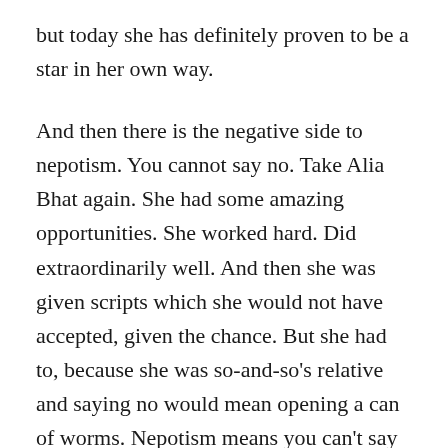but today she has definitely proven to be a star in her own way.
And then there is the negative side to nepotism. You cannot say no. Take Alia Bhat again. She had some amazing opportunities. She worked hard. Did extraordinarily well. And then she was given scripts which she would not have accepted, given the chance. But she had to, because she was so-and-so's relative and saying no would mean opening a can of worms. Nepotism means you can't say no either.
The world is a competition. Sure, we all have to start at the same place to be able to participate and race